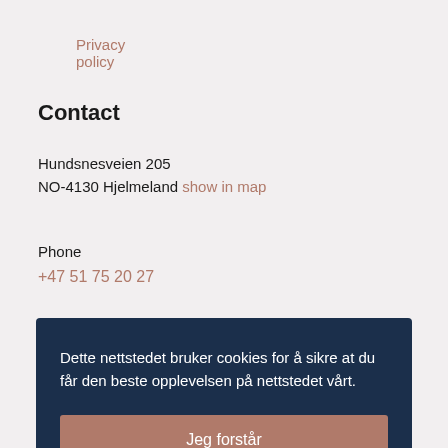Privacy policy
Contact
Hundsnesveien 205
NO-4130 Hjelmeland show in map
Phone
+47 51 75 20 27
Dette nettstedet bruker cookies for å sikre at du får den beste opplevelsen på nettstedet vårt.
Jeg forstår